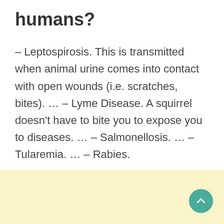humans?
– Leptospirosis. This is transmitted when animal urine comes into contact with open wounds (i.e. scratches, bites). … – Lyme Disease. A squirrel doesn't have to bite you to expose you to diseases. … – Salmonellosis. … – Tularemia. … – Rabies.